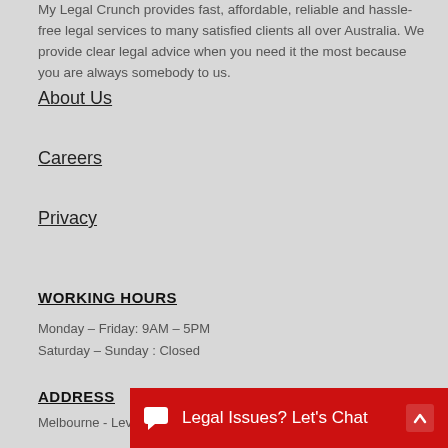My Legal Crunch provides fast, affordable, reliable and hassle-free legal services to many satisfied clients all over Australia. We provide clear legal advice when you need it the most because you are always somebody to us.
About Us
Careers
Privacy
WORKING HOURS
Monday – Friday: 9AM – 5PM
Saturday – Sunday : Closed
ADDRESS
Melbourne - Leve…
Legal Issues? Let's Chat